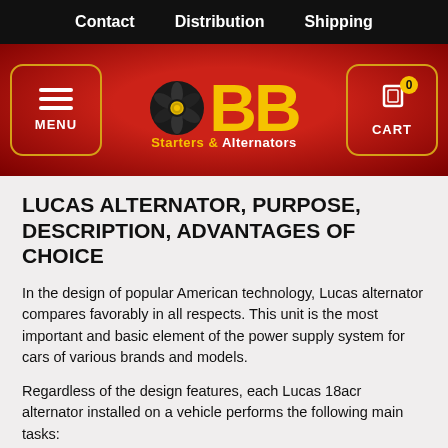Contact   Distribution   Shipping
[Figure (logo): BB Starters & Alternators logo with spinning gear icon, yellow BB lettering on dark red background, with MENU button and CART button]
LUCAS ALTERNATOR, PURPOSE, DESCRIPTION, ADVANTAGES OF CHOICE
In the design of popular American technology, Lucas alternator compares favorably in all respects. This unit is the most important and basic element of the power supply system for cars of various brands and models.
Regardless of the design features, each Lucas 18acr alternator installed on a vehicle performs the following main tasks:
• Ensuring reliable and uninterrupted operation of all elements of the vehicle EO system (headlights, lights, sensors, instrumentation, etc.).